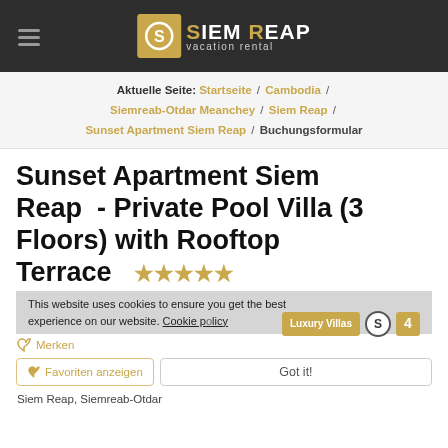Siem Reap vacation rental — logo and navigation header
Aktuelle Seite: Startseite / Cambodia / Siemreab-Otdar Meanchey / Siem Reap / Sunset Apartment Siem Reap / Buchungsformular
Sunset Apartment Siem Reap  - Private Pool Villa (3 Floors) with Rooftop Terrace ★★★★★
This website uses cookies to ensure you get the best experience on our website. Cookie policy
Merken
Luxury Villas  (S)  4
Favoriten anzeigen    Got it!
Siem Reap, Siemreab-Otdar